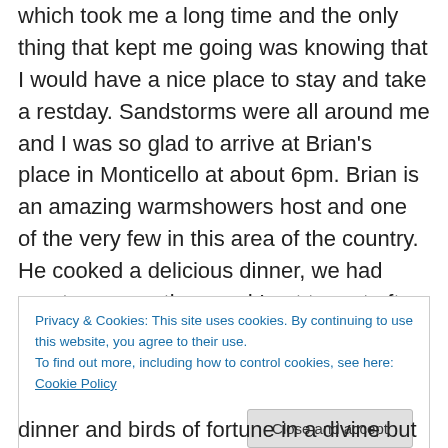which took me a long time and the only thing that kept me going was knowing that I would have a nice place to stay and take a restday. Sandstorms were all around me and I was so glad to arrive at Brian's place in Monticello at about 6pm. Brian is an amazing warmshowers host and one of the very few in this area of the country. He cooked a delicious dinner, we had great conversations and I got to rest after a couple of really hard days. I also had the feeling I was getting a little bit sick, so now I'm recovered and ready to tackle the next tasks. On my restday, I didn't do anything but chill and eat – the usual! In the evening,
Privacy & Cookies: This site uses cookies. By continuing to use this website, you agree to their use.
To find out more, including how to control cookies, see here: Cookie Policy
Close and accept
dinner and birds of fortune in a divine but soon ended wide